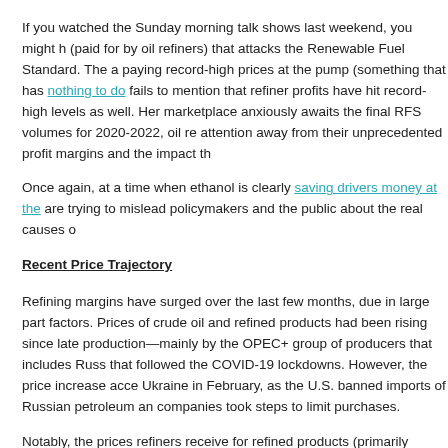If you watched the Sunday morning talk shows last weekend, you might have seen an ad (paid for by oil refiners) that attacks the Renewable Fuel Standard. The ad claims drivers are paying record-high prices at the pump (something that has nothing to do with the RFS) but fails to mention that refiner profits have hit record-high levels as well. Here, as the marketplace anxiously awaits the final RFS volumes for 2020-2022, oil refiners are trying to shift attention away from their unprecedented profit margins and the impact that has had on prices.
Once again, at a time when ethanol is clearly saving drivers money at the pump, oil refiners are trying to mislead policymakers and the public about the real causes of high gas prices.
Recent Price Trajectory
Refining margins have surged over the last few months, due in large part to geopolitical factors. Prices of crude oil and refined products had been rising since late 2021 due to cuts in production—mainly by the OPEC+ group of producers that includes Russia—to offset the drop that followed the COVID-19 lockdowns. However, the price increase accelerated when Russia invaded Ukraine in February, as the U.S. banned imports of Russian petroleum and other Western companies took steps to limit purchases.
Notably, the prices refiners receive for refined products (primarily gasoline and distillates) strengthened considerably more than the prices those refiners are paying for crude oil. Crude oil and distillates have fallen—particularly on the East Coast—and export demand has been increasing, driving prices typically in the same direction of the economy.